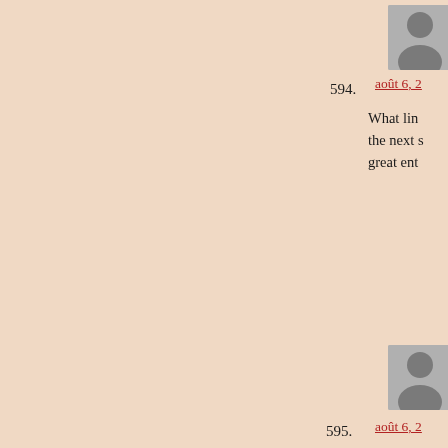594. août 6, 2... What lin the next s great ent
595. août 6, 2... It's OK s The lette lot of cor
596. août 6, 2... We'd lik rape, sev criminal